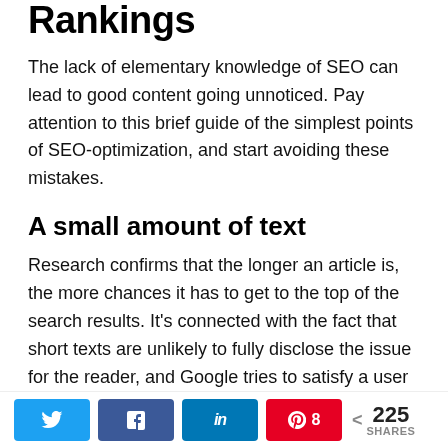Rankings
The lack of elementary knowledge of SEO can lead to good content going unnoticed. Pay attention to this brief guide of the simplest points of SEO-optimization, and start avoiding these mistakes.
A small amount of text
Research confirms that the longer an article is, the more chances it has to get to the top of the search results. It’s connected with the fact that short texts are unlikely to fully disclose the issue for the reader, and Google tries to satisfy a user from the first click. I suggest that you read the Yoast’s article on how long the blog post should be.
Formatting mistakes
Twitter | Facebook | LinkedIn | Pinterest 8 | < 225 SHARES